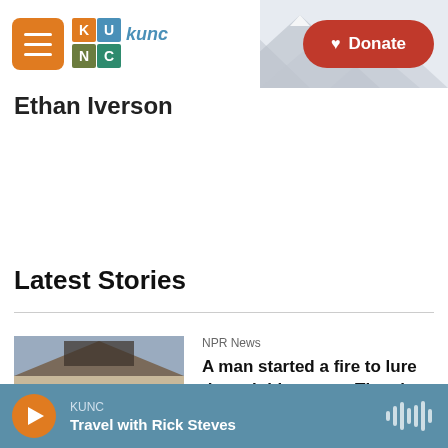KUNC — Donate
Ethan Iverson
Latest Stories
[Figure (photo): Exterior of a house with people and a pickup truck, scene of a fire and shooting incident]
NPR News
A man started a fire to lure the neighbors out. Then he shot them — killing 3 people
KUNC — Travel with Rick Steves